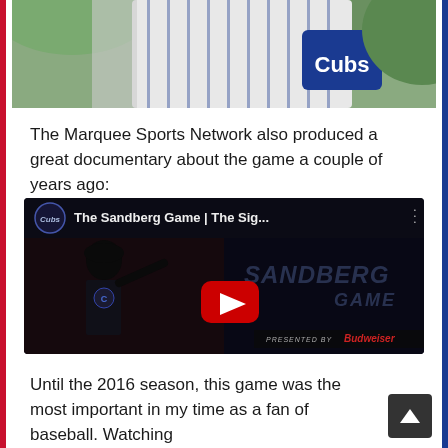[Figure (photo): Partial photo of a baseball player wearing a Chicago Cubs jersey, cropped at the top of the page]
The Marquee Sports Network also produced a great documentary about the game a couple of years ago:
[Figure (screenshot): YouTube video thumbnail for 'The Sandberg Game | The Sig...' - shows a Cubs batter with the text SANDBERG GAME overlaid, a red play button in center, and 'PRESENTED BY Budweiser' in the bottom right. The video is from the Cubs channel.]
Until the 2016 season, this game was the most important in my time as a fan of baseball. Watching